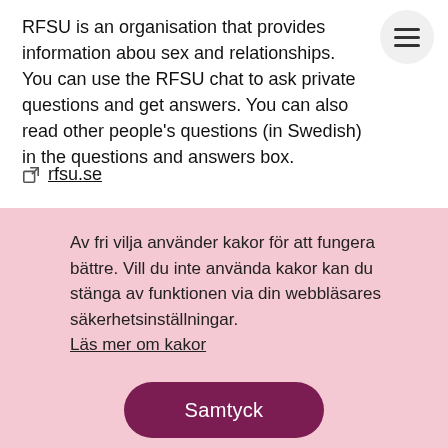RFSU is an organisation that provides information about sex and relationships. You can use the RFSU chat to ask private questions and get answers. You can also read other people's questions (in Swedish) in the questions and answers box.
rfsu.se
Av fri vilja använder kakor för att fungera bättre. Vill du inte använda kakor kan du stänga av funktionen via din webbläsares säkerhetsinställningar. Läs mer om kakor
Samtyck